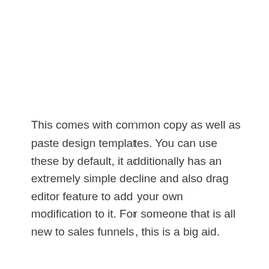This comes with common copy as well as paste design templates. You can use these by default, it additionally has an extremely simple decline and also drag editor feature to add your own modification to it. For someone that is all new to sales funnels, this is a big aid.